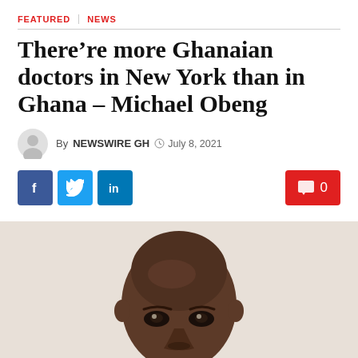FEATURED   NEWS
There’re more Ghanaian doctors in New York than in Ghana – Michael Obeng
By NEWSWIRE GH   ◷ July 8, 2021
[Figure (other): Social share buttons: Facebook (f), Twitter (bird icon), LinkedIn (in), and a red comment button showing 0 comments]
[Figure (photo): Close-up portrait photograph of a bald Black man looking directly at the camera, cropped at the forehead and chin]